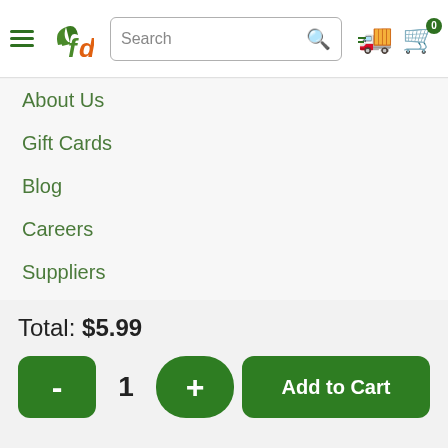fd [logo with hamburger menu, search bar, delivery icon, cart icon with 0]
About Us
Gift Cards
Blog
Careers
Suppliers
Food Safety
Privacy Policy
Customer Agreement
Total: $5.99
- 1 + Add to Cart